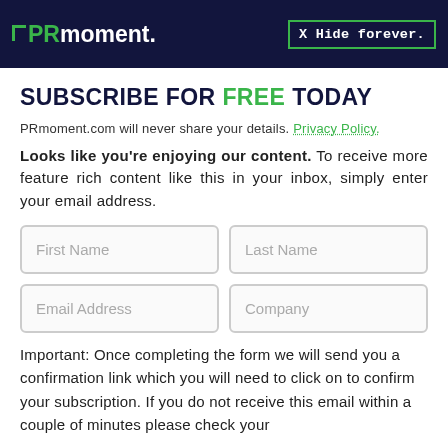PRmoment. X Hide forever.
SUBSCRIBE FOR FREE TODAY
PRmoment.com will never share your details. Privacy Policy.
Looks like you're enjoying our content. To receive more feature rich content like this in your inbox, simply enter your email address.
First Name | Last Name | Email Address | Company (form fields)
Important: Once completing the form we will send you a confirmation link which you will need to click on to confirm your subscription. If you do not receive this email within a couple of minutes please check your